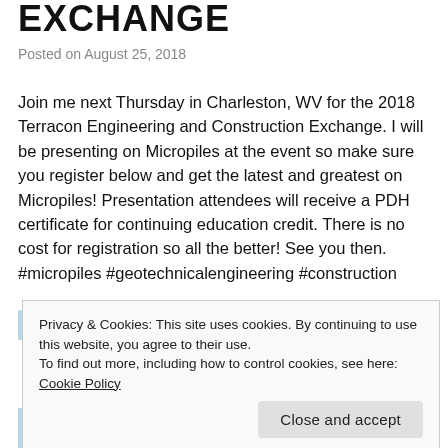EXCHANGE
Posted on August 25, 2018
Join me next Thursday in Charleston, WV for the 2018 Terracon Engineering and Construction Exchange. I will be presenting on Micropiles at the event so make sure you register below and get the latest and greatest on Micropiles! Presentation attendees will receive a PDH certificate for continuing education credit. There is no cost for registration so all the better! See you then. #micropiles #geotechnicalengineering #construction
[Figure (photo): Partial view of an event banner image for Terracon Engineering and Construction Exchange, showing a blue background with green and orange/brown colors.]
Privacy & Cookies: This site uses cookies. By continuing to use this website, you agree to their use.
To find out more, including how to control cookies, see here: Cookie Policy
Close and accept
August 30, 2018 – 9 a.m. to 7 p.m.